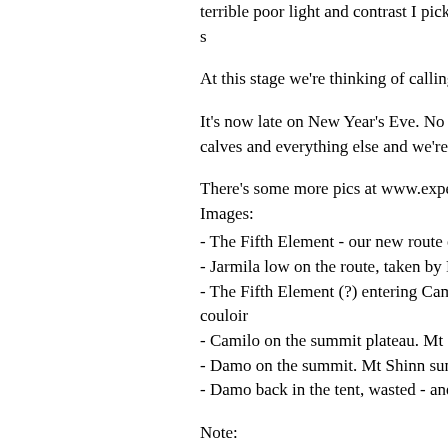terrible poor light and contrast I picked my way out to the skis - just me, totally wasted - and a huge s
At this stage we're thinking of calling the route "Th
It's now late on New Year's Eve. No party here, b stiff than we were a day or so ago. 4000m of fron calves and everything else and we're still not 100 there. A week remains and Tyree still to go.
There's some more pics at www.expenews.org a in the older Updates section at www.antarcticmo Images:
- The Fifth Element - our new route on the 2000m
- Jarmila low on the route, taken by Pachi
- The Fifth Element (?) entering Camilo's Cilogea the crappy off-route ridge at the top of the couloir
- Camilo on the summit plateau. Mt Gardner left b background
- Damo on the summit. Mt Shinn summit left back background
- Damo back in the tent, wasted - and it's not eve
Note:
The name of the new route climbed by Jarmila ar Vinson before Christmas is now the "Chilena-Slov
Happy New Year to everyone.